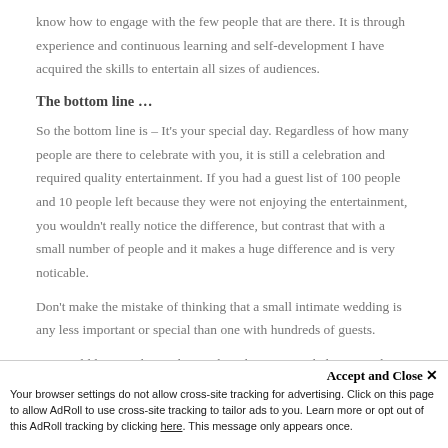know how to engage with the few people that are there. It is through experience and continuous learning and self-development I have acquired the skills to entertain all sizes of audiences.
The bottom line …
So the bottom line is – It's your special day. Regardless of how many people are there to celebrate with you, it is still a celebration and required quality entertainment. If you had a guest list of 100 people and 10 people left because they were not enjoying the entertainment, you wouldn't really notice the difference, but contrast that with a small number of people and it makes a huge difference and is very noticable.
Don't make the mistake of thinking that a small intimate wedding is any less important or special than one with hundreds of guests.
We would love to chat with you about how we can help you with your
Accept and Close ✕ Your browser settings do not allow cross-site tracking for advertising. Click on this page to allow AdRoll to use cross-site tracking to tailor ads to you. Learn more or opt out of this AdRoll tracking by clicking here. This message only appears once.